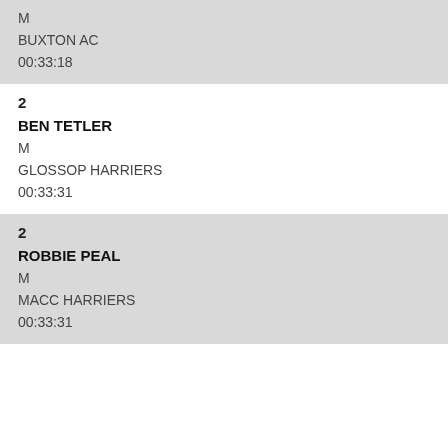M | BUXTON AC | 00:33:18
2 | BEN TETLER | M | GLOSSOP HARRIERS | 00:33:31
2 | ROBBIE PEAL | M | MACC HARRIERS | 00:33:31